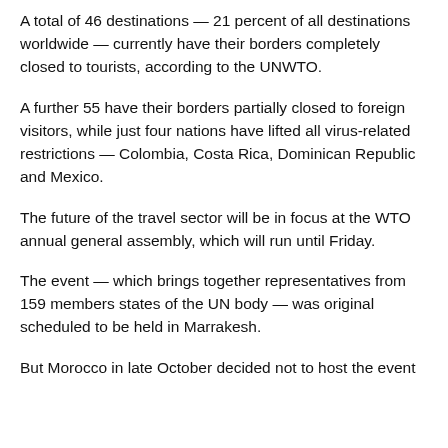A total of 46 destinations — 21 percent of all destinations worldwide — currently have their borders completely closed to tourists, according to the UNWTO.
A further 55 have their borders partially closed to foreign visitors, while just four nations have lifted all virus-related restrictions — Colombia, Costa Rica, Dominican Republic and Mexico.
The future of the travel sector will be in focus at the WTO annual general assembly, which will run until Friday.
The event — which brings together representatives from 159 members states of the UN body — was original scheduled to be held in Marrakesh.
But Morocco in late October decided not to host the event due to the Covid-19 restrictions.